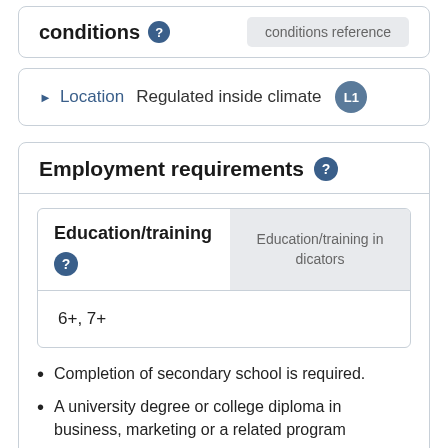conditions
conditions reference
Location   Regulated inside climate   L1
Employment requirements
Education/training
Education/training indicators
6+, 7+
Completion of secondary school is required.
A university degree or college diploma in business, marketing or a related program